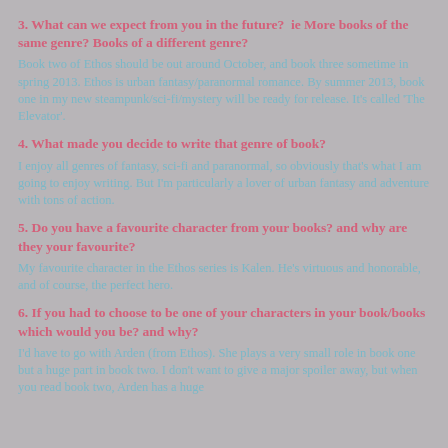3. What can we expect from you in the future?  ie More books of the same genre? Books of a different genre?
Book two of Ethos should be out around October, and book three sometime in spring 2013. Ethos is urban fantasy/paranormal romance. By summer 2013, book one in my new steampunk/sci-fi/mystery will be ready for release. It's called 'The Elevator'.
4. What made you decide to write that genre of book?
I enjoy all genres of fantasy, sci-fi and paranormal, so obviously that's what I am going to enjoy writing. But I'm particularly a lover of urban fantasy and adventure with tons of action.
5. Do you have a favourite character from your books? and why are they your favourite?
My favourite character in the Ethos series is Kalen. He's virtuous and honorable, and of course, the perfect hero.
6. If you had to choose to be one of your characters in your book/books which would you be? and why?
I'd have to go with Arden (from Ethos). She plays a very small role in book one but a huge part in book two. I don't want to give a major spoiler away, but when you read book two, Arden has a huge